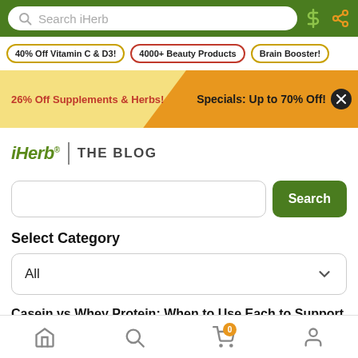Search iHerb
40% Off Vitamin C & D3! | 4000+ Beauty Products | Brain Booster!
26% Off Supplements & Herbs! Specials: Up to 70% Off!
iHerb | THE BLOG
Search
Select Category
All
Casein vs Whey Protein: When to Use Each to Support